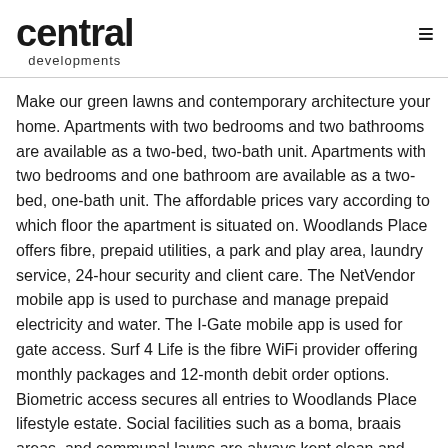central developments
Make our green lawns and contemporary architecture your home. Apartments with two bedrooms and two bathrooms are available as a two-bed, two-bath unit. Apartments with two bedrooms and one bathroom are available as a two-bed, one-bath unit. The affordable prices vary according to which floor the apartment is situated on. Woodlands Place offers fibre, prepaid utilities, a park and play area, laundry service, 24-hour security and client care. The NetVendor mobile app is used to purchase and manage prepaid electricity and water. The I-Gate mobile app is used for gate access. Surf 4 Life is the fibre WiFi provider offering monthly packages and 12-month debit order options. Biometric access secures all entries to Woodlands Place lifestyle estate. Social facilities such as a boma, braais areas, and communal lawns are always kept clean and regulated. Indoor swimming pool, outdoor gym, kick-about field, kids play area and plug-and-play DSTV